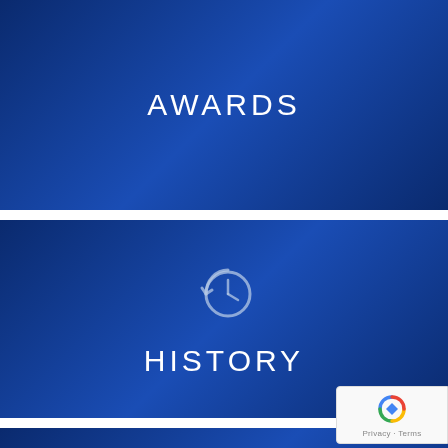AWARDS
[Figure (illustration): History panel with a clock/history icon and the label HISTORY]
HISTORY
PARTNERSHIPS